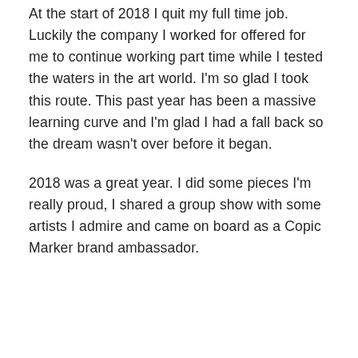At the start of 2018 I quit my full time job. Luckily the company I worked for offered for me to continue working part time while I tested the waters in the art world. I'm so glad I took this route. This past year has been a massive learning curve and I'm glad I had a fall back so the dream wasn't over before it began.
2018 was a great year. I did some pieces I'm really proud, I shared a group show with some artists I admire and came on board as a Copic Marker brand ambassador.